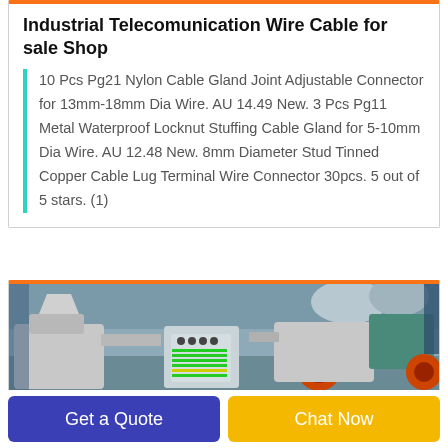Industrial Telecomunication Wire Cable for sale Shop
10 Pcs Pg21 Nylon Cable Gland Joint Adjustable Connector for 13mm-18mm Dia Wire. AU 14.49 New. 3 Pcs Pg11 Metal Waterproof Locknut Stuffing Cable Gland for 5-10mm Dia Wire. AU 12.48 New. 8mm Diameter Stud Tinned Copper Cable Lug Terminal Wire Connector 30pcs. 5 out of 5 stars. (1)
[Figure (photo): Industrial cable/wire processing machinery in a factory setting, showing white and orange/red machines with a control panel]
Get a Quote
Chat Now